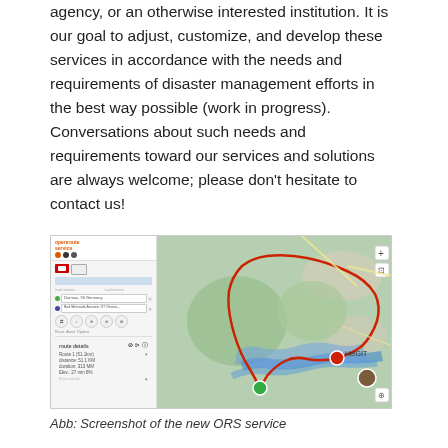agency, or an otherwise interested institution. It is our goal to adjust, customize, and develop these services in accordance with the needs and requirements of disaster management efforts in the best way possible (work in progress). Conversations about such needs and requirements toward our services and solutions are always welcome; please don't hesitate to contact us!
[Figure (screenshot): Screenshot of the openrouteservice (ORS) web interface showing a routing panel on the left with input fields for 'Darmau, 99 Germany' and 'Bad Meinrode Arnstein, 97 Germa...', and a map on the right displaying a red route outline and a blue route/area along a river, with green and red markers.]
Abb: Screenshot of the new ORS service